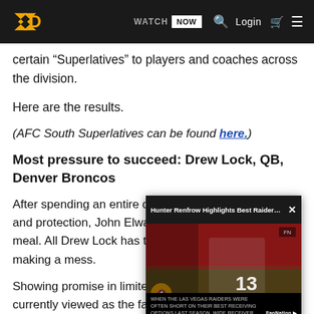WATCH NOW  Login  [menu icons]
certain “Superlatives” to players and coaches across the division.
Here are the results.
(AFC South Superlatives can be found here.)
Most pressure to succeed: Drew Lock, QB, Denver Broncos
After spending an ent... and protection, John ... cooked the meal. All D... the food without mak...
Showing promise in li... currently viewed as t... organization, as ever...
[Figure (screenshot): Video overlay popup showing 'Hunter Renfrow Highlights Best Raiders ...' with a football player wearing jersey #13 (Las Vegas Raiders) running on field with a red background. Includes mute button, FanNation logo, and caption text about Hunter Renfrow stepping up when Raiders' best receiving options were short last season.]